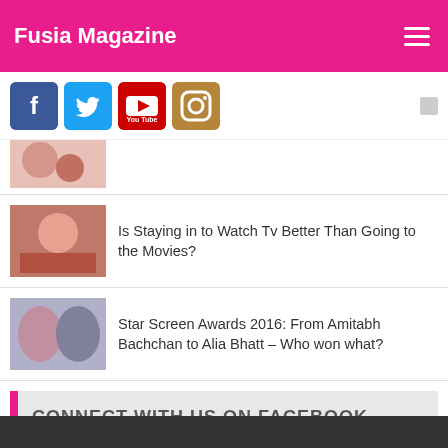Fusia Magazine
[Figure (screenshot): Social media icons: Facebook, Twitter, YouTube, Instagram]
[Figure (photo): Partial thumbnail of a previous article]
Is Staying in to Watch Tv Better Than Going to the Movies?
Star Screen Awards 2016: From Amitabh Bachchan to Alia Bhatt – Who won what?
CONNECT WITH US ON FACEBOOK